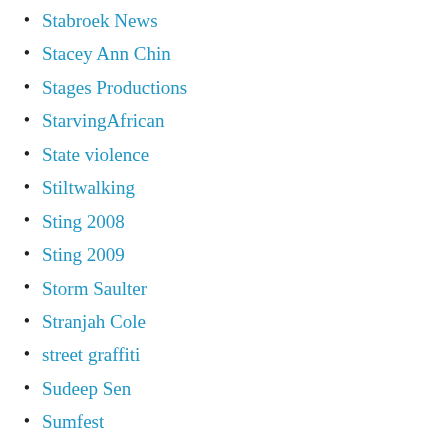Stabroek News
Stacey Ann Chin
Stages Productions
StarvingAfrican
State violence
Stiltwalking
Sting 2008
Sting 2009
Storm Saulter
Stranjah Cole
street graffiti
Sudeep Sen
Sumfest
Sunday Gleaner
Sunday Herald
Sunday Times